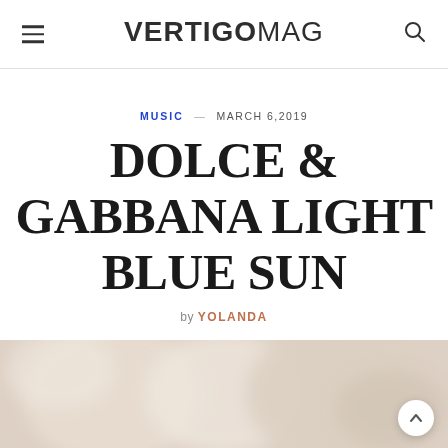VERTIGOMAG
MUSIC — MARCH 6,2019
DOLCE & GABBANA LIGHT BLUE SUN
by YOLANDA
[Figure (photo): Blurred product photo at bottom of page, beige/cream tones]